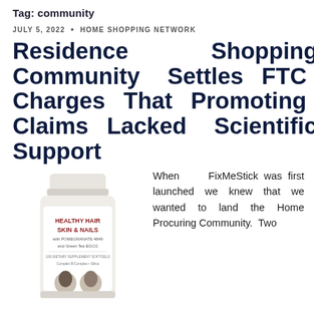Tag: community
JULY 5, 2022 · HOME SHOPPING NETWORK
Residence Shopping Community Settles FTC Charges That Promoting Claims Lacked Scientific Support
[Figure (photo): Product photo of a white pill/supplement bottle labeled 'Healthy Hair Skin & Nails with Pomegranate 4849 and Green Tea EGCG']
When FixMeStick was first launched we knew that we wanted to land the Home Procuring Community. Two